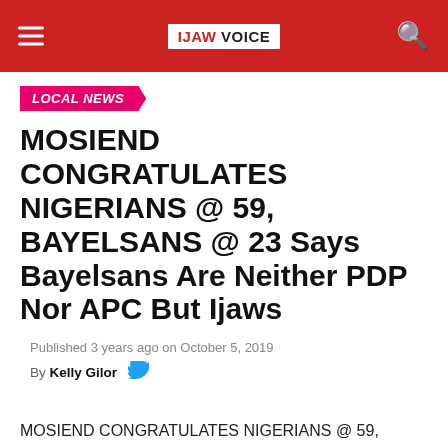IJAW VOICE
LOCAL NEWS
MOSIEND CONGRATULATES NIGERIANS @ 59, BAYELSANS @ 23 Says Bayelsans Are Neither PDP Nor APC But Ijaws
Published 3 years ago on October 5, 2019
By Kelly Gilor
MOSIEND CONGRATULATES NIGERIANS @ 59, BAYELSANS @ 23
Says Bayelsans Are Neither PDP Nor APC But Ijaws